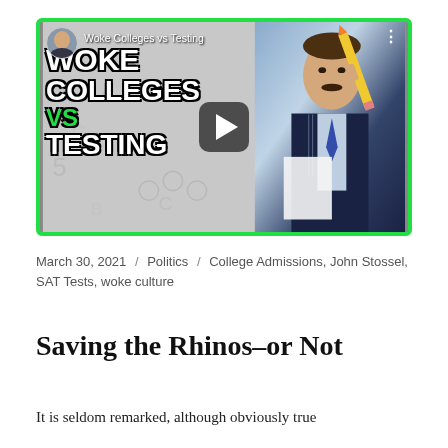[Figure (screenshot): YouTube video thumbnail titled 'Woke Colleges vs Testing' showing a man in a suit holding a large pencil, with stylized bold text 'WOKE COLLEGES VS TESTING' on the left side in white and green, green border around the video, with a play button overlay.]
March 30, 2021 / Politics / College Admissions, John Stossel, SAT Tests, woke culture
Saving the Rhinos–or Not
It is seldom remarked, although obviously true